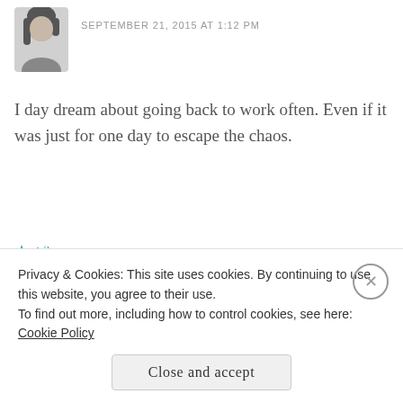[Figure (photo): Circular avatar photo of a woman with dark hair, black and white]
SEPTEMBER 21, 2015 AT 1:12 PM
I day dream about going back to work often. Even if it was just for one day to escape the chaos.
★ Like
Reply
[Figure (logo): Circular logo for Life, kids and a glass of red blog with red wine splash design]
Life, kids and a glass of red
SEPTEMBER 22, 2015 AT 10:32 AM
Privacy & Cookies: This site uses cookies. By continuing to use this website, you agree to their use.
To find out more, including how to control cookies, see here: Cookie Policy
Close and accept